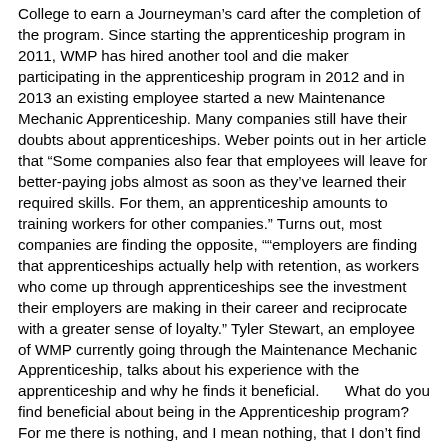College to earn a Journeyman’s card after the completion of the program. Since starting the apprenticeship program in 2011, WMP has hired another tool and die maker participating in the apprenticeship program in 2012 and in 2013 an existing employee started a new Maintenance Mechanic Apprenticeship. Many companies still have their doubts about apprenticeships. Weber points out in her article that “Some companies also fear that employees will leave for better-paying jobs almost as soon as they’ve learned their required skills. For them, an apprenticeship amounts to training workers for other companies.” Turns out, most companies are finding the opposite, ““employers are finding that apprenticeships actually help with retention, as workers who come up through apprenticeships see the investment their employers are making in their career and reciprocate with a greater sense of loyalty.” Tyler Stewart, an employee of WMP currently going through the Maintenance Mechanic Apprenticeship, talks about his experience with the apprenticeship and why he finds it beneficial.      What do you find beneficial about being in the Apprenticeship program? For me there is nothing, and I mean nothing, that I don’t find beneficial about the apprenticeship program. It is a God sent opportunity I am able to go to school and still provide for my family. With the apprenticeship I’m able to apply my studies directly to what I’m doing at work which makes for a better work and school experience. Another great thing about this program is that as your knowledge grows, your pay does too, which I thought was a fantastic benefit of the program. Has it helped you in your career today? Truthfully, it gave me a career. Before the opportunity ...